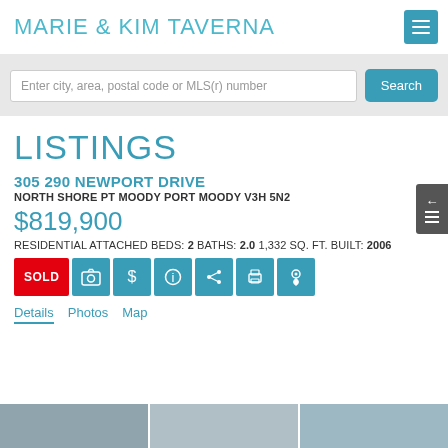MARIE & KIM TAVERNA
Enter city, area, postal code or MLS(r) number
LISTINGS
305 290 NEWPORT DRIVE
NORTH SHORE PT MOODY PORT MOODY V3H 5N2
$819,900
RESIDENTIAL ATTACHED BEDS: 2 BATHS: 2.0 1,332 SQ. FT. BUILT: 2006
SOLD
Details  Photos  Map
[Figure (photo): Property photo strip at the bottom of the page]